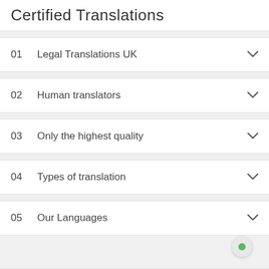Certified Translations
01  Legal Translations UK
02  Human translators
03  Only the highest quality
04  Types of translation
05  Our Languages